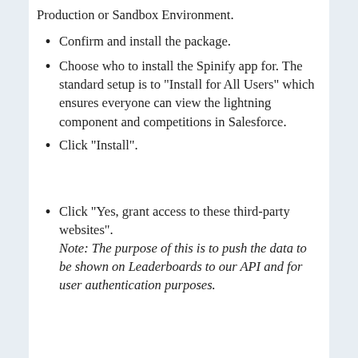Production or Sandbox Environment.
Confirm and install the package.
Choose who to install the Spinify app for. The standard setup is to “Install for All Users” which ensures everyone can view the lightning component and competitions in Salesforce.
Click “Install”.
Click “Yes, grant access to these third-party websites”.
Note: The purpose of this is to push the data to be shown on Leaderboards to our API and for user authentication purposes.